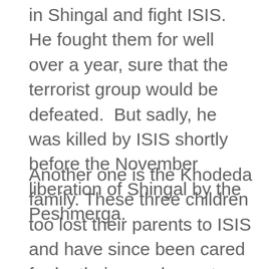in Shingal and fight ISIS. He fought them for well over a year, sure that the terrorist group would be defeated.  But sadly, he was killed by ISIS shortly before the November liberation of Shingal by the Peshmerga.
Another one is the Khodeda family. These three children too lost their parents to ISIS and have since been cared for by their grandparents and